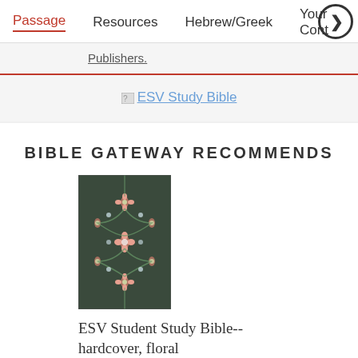Passage | Resources | Hebrew/Greek | Your Cont…
Publishers.
[Figure (screenshot): ESV Study Bible banner image link]
BIBLE GATEWAY RECOMMENDS
[Figure (photo): ESV Student Study Bible hardcover floral book cover]
ESV Student Study Bible-- hardcover, floral